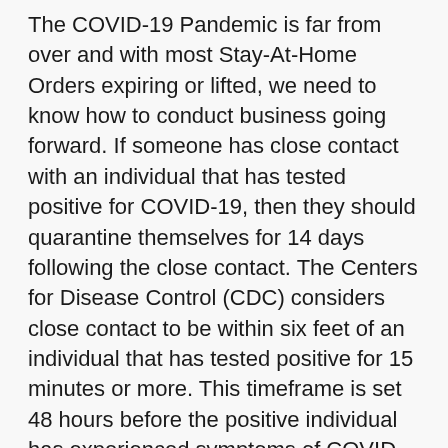The COVID-19 Pandemic is far from over and with most Stay-At-Home Orders expiring or lifted, we need to know how to conduct business going forward. If someone has close contact with an individual that has tested positive for COVID-19, then they should quarantine themselves for 14 days following the close contact. The Centers for Disease Control (CDC) considers close contact to be within six feet of an individual that has tested positive for 15 minutes or more. This timeframe is set 48 hours before the positive individual has experienced symptoms of COVID-19. This could pose a problem if the employee has been working in close contact with other coworkers or trade partners on the project and finds out that they have been around someone that has tested positive in the past 48 hours. However, essential workers have different guidelines and if they take